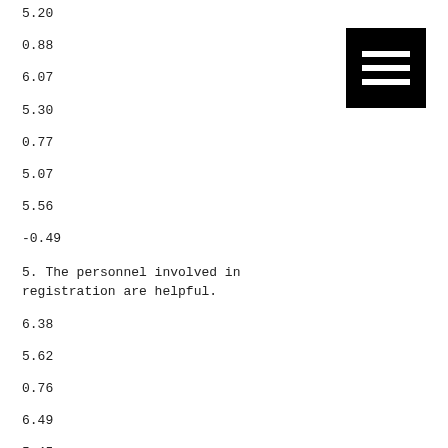5.20
0.88
6.07
5.30
0.77
5.07
5.56
-0.49
5. The personnel involved in registration are helpful.
6.38
5.62
0.76
6.49
5.45
1.04
[Figure (other): Black square icon with three horizontal white lines (hamburger/menu icon)]